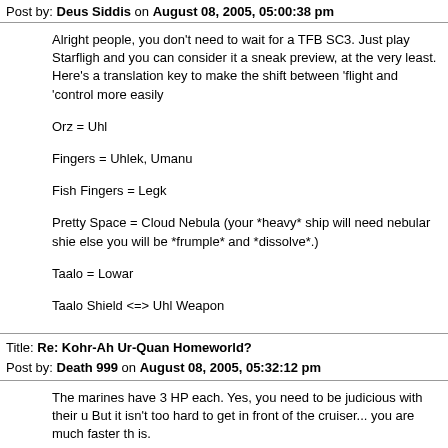Post by: Deus Siddis on August 08, 2005, 05:00:38 pm
Alright people, you don't need to wait for a TFB SC3. Just play Starflight and you can consider it a sneak preview, at the very least. Here's a translation key to make the shift between 'flight and 'control more easily
Orz = Uhl
Fingers = Uhlek, Umanu
Fish Fingers = Legk
Pretty Space = Cloud Nebula (your *heavy* ship will need nebular shie else you will be *frumple* and *dissolve*.)
Taalo = Lowar
Taalo Shield <=> Uhl Weapon
Title: Re: Kohr-Ah Ur-Quan Homeworld?
Post by: Death 999 on August 08, 2005, 05:32:12 pm
The marines have 3 HP each. Yes, you need to be judicious with their u But it isn't too hard to get in front of the cruiser... you are much faster th is.
That said, yes, the Orz would not manifest their threat just by shooting the Alliance. Perhaps they will try to be more friendly, thus... well... hav unpleasant scary things happen.